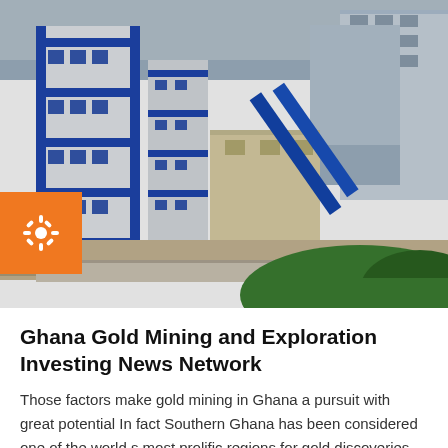[Figure (photo): Aerial view of a gold mining industrial facility with blue and white multi-storey buildings, a tan/beige smaller building in the center, blue conveyor pipes, a concrete wall, paved road, and green vegetation in the foreground.]
Ghana Gold Mining and Exploration Investing News Network
Those factors make gold mining in Ghana a pursuit with great potential In fact Southern Ghana has been considered one of the world s most prolific regions for gold discoveries for some time with both gold